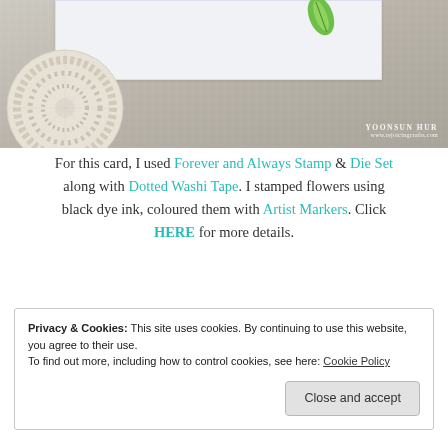[Figure (photo): Photo of a handmade card on a lace doily and linen background, with YOONSUN HUR watermark and www.rejoicingcrafts.com URL]
For this card, I used Forever and Always Stamp & Die Set along with Dotted Washi Tape. I stamped flowers using black dye ink, coloured them with Artist Markers. Click HERE for more details.
Privacy & Cookies: This site uses cookies. By continuing to use this website, you agree to their use.
To find out more, including how to control cookies, see here: Cookie Policy

Close and accept